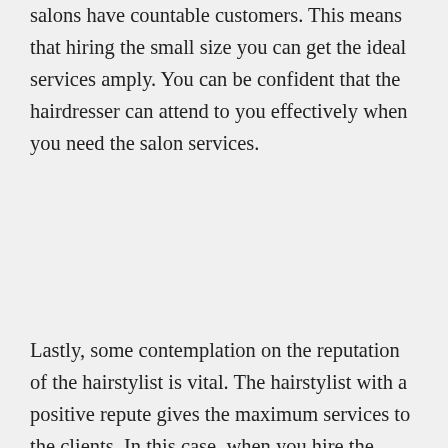salons have countable customers. This means that hiring the small size you can get the ideal services amply. You can be confident that the hairdresser can attend to you effectively when you need the salon services.
Lastly, some contemplation on the reputation of the hairstylist is vital. The hairstylist with a positive repute gives the maximum services to the clients. In this case, when you hire the hairstylist with a positive repute you can be sure that you can enjoy the services they can give to you.
Interesting Research on Services – What No One Ever Told You